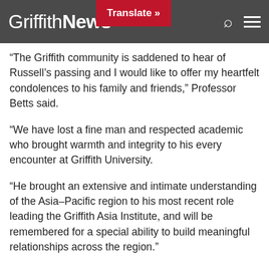Griffith News
“The Griffith community is saddened to hear of Russell’s passing and I would like to offer my heartfelt condolences to his family and friends,” Professor Betts said.
“We have lost a fine man and respected academic who brought warmth and integrity to his every encounter at Griffith University.
“He brought an extensive and intimate understanding of the Asia-Pacific region to his most recent role leading the Griffith Asia Institute, and will be remembered for a special ability to build meaningful relationships across the region.”
Russell Trood was elected to the Senate for Queensland in 2004 where he represented the Liberal Party until 2010. During this term he served as Deputy Chair of the Senate Committee on Foreign Affairs, Defence and Trade, 2004–